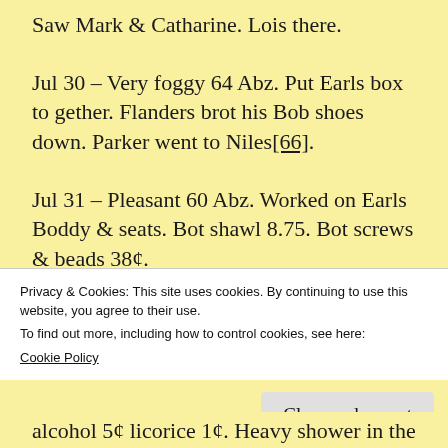Saw Mark & Catharine. Lois there.
Jul 30 – Very foggy 64 Abz. Put Earls box to gether. Flanders brot his Bob shoes down. Parker went to Niles[66].
Jul 31 – Pleasant 60 Abz. Worked on Earls Boddy & seats. Bot shawl 8.75. Bot screws & beads 38¢.
Aug 1 – Pleasant 52 Abz. Worked in shop some.
Privacy & Cookies: This site uses cookies. By continuing to use this website, you agree to their use.
To find out more, including how to control cookies, see here:
Cookie Policy
alcohol 5¢ licorice 1¢. Heavy shower in the